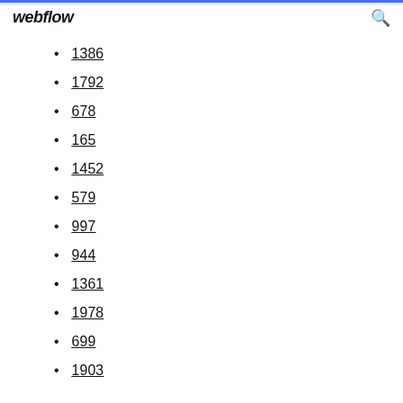webflow
1386
1792
678
165
1452
579
997
944
1361
1978
699
1903